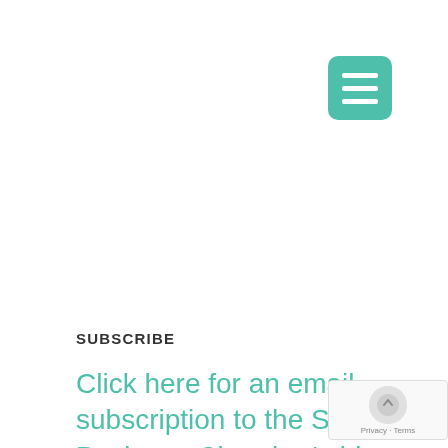[Figure (other): Teal/green rounded square hamburger menu icon with three white horizontal lines]
SUBSCRIBE
Click here for an email subscription to the Small Business Chamber's blog
[Figure (other): Google reCAPTCHA badge with logo and Privacy - Terms text]